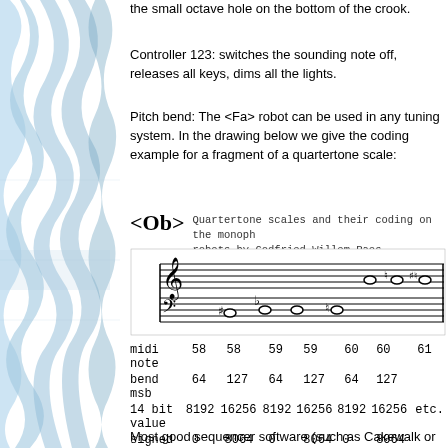the small octave hole on the bottom of the crook.
Controller 123: switches the sounding note off, releases all keys, dims all the lights.
Pitch bend: The <Fa> robot can be used in any tuning system. In the drawing below we give the coding example for a fragment of a quartertone scale:
Quartertone scales and their coding on the monophonic robots by Godfried-Willem Raes
[Figure (illustration): Musical staff notation showing a quartertone scale fragment with treble and bass clef, notes with accidentals across two staves]
|  | col1 | col2 | col3 | col4 | col5 | col6 | col7 |
| --- | --- | --- | --- | --- | --- | --- | --- |
| midi note | 58 | 58 | 59 | 59 | 60 | 60 | 61 |
| bend msb | 64 | 127 | 64 | 127 | 64 | 127 |  |
| 14 bit value | 8192 | 16256 | 8192 | 16256 | 8192 | 16256 | etc. |
| signed 14 bit | 0 | 8064 | 0 | 8064 | 0 | 8064 |  |
Most good sequencer software (such as Cakewalk or Sonar) uses the signed 14 bit...